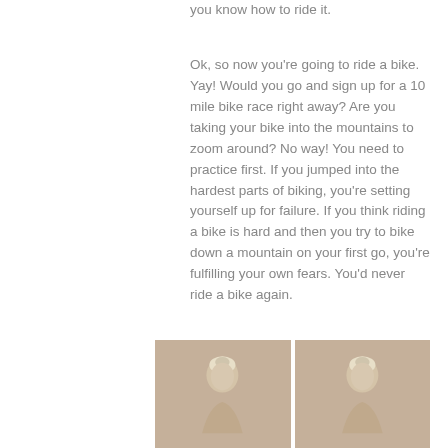you know how to ride it.
Ok, so now you're going to ride a bike. Yay! Would you go and sign up for a 10 mile bike race right away? Are you taking your bike into the mountains to zoom around? No way! You need to practice first. If you jumped into the hardest parts of biking, you're setting yourself up for failure. If you think riding a bike is hard and then you try to bike down a mountain on your first go, you're fulfilling your own fears. You'd never ride a bike again.
[Figure (photo): Two side-by-side photos of a woman with blonde updo hair against a beige background]